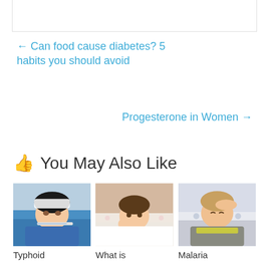← Can food cause diabetes? 5 habits you should avoid
Progesterone in Women →
👍 You May Also Like
[Figure (photo): Woman lying in bed holding a thermometer, looking ill — Typhoid]
[Figure (photo): Child in bed looking sick — What is...]
[Figure (photo): Woman lying in bed with hand on forehead, sick — Malaria]
Typhoid
What is
Malaria